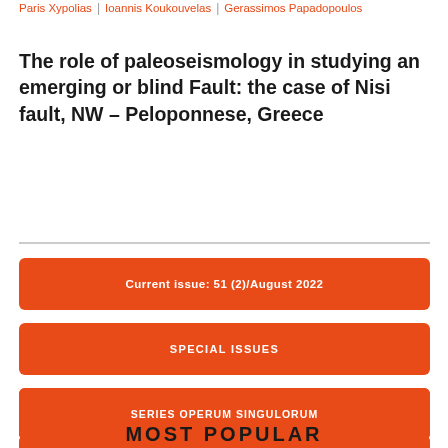Paris Xypolias | Ioannis Koukouvelas | Gerassimos Papadopoulos
The role of paleoseismology in studying an emerging or blind Fault: the case of Nisi fault, NW – Peloponnese, Greece
Current issue: 51 (2)/August 2022
SPECIAL ISSUES
ABSTRACT BOOKS
SERIES OPERUM SINGULORUM
MOST POPULAR